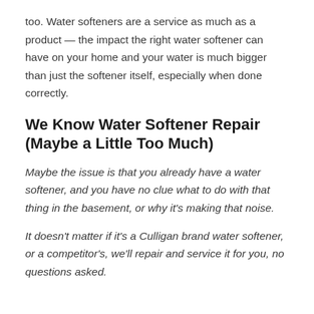too. Water softeners are a service as much as a product — the impact the right water softener can have on your home and your water is much bigger than just the softener itself, especially when done correctly.
We Know Water Softener Repair (Maybe a Little Too Much)
Maybe the issue is that you already have a water softener, and you have no clue what to do with that thing in the basement, or why it's making that noise.
It doesn't matter if it's a Culligan brand water softener, or a competitor's, we'll repair and service it for you, no questions asked.